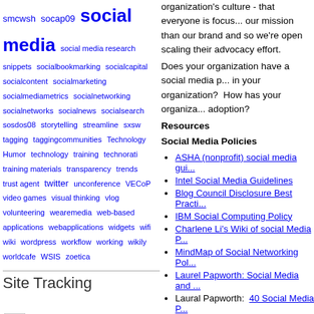smcwsh  socap09  social media  social media research  snippets  socialbookmarking  socialcapital  socialcontent  socialmarketing  socialmediametrics  socialnetworking  socialnetworks  socialnews  socialsearch  sosdos08  storytelling  streamline  sxsw  tagging  taggingcommunities  Technology Humor  technology  training  technorati  training materials  transparency  trends  trust agent  twitter  unconference  VECoP  video games  visual thinking  vlog  volunteering  wearemedia  web-based applications  webapplications  widgets  wifi  wiki  wordpress  workflow  working  wikily  worldcafe  WSIS  zoetica
Site Tracking
[Figure (screenshot): This is my Google PageRank™ - SmE Rank free service Powered by Scriptme]
organization's culture - that everyone is focused on our mission than our brand and so we're open to scaling their advocacy effort.
Does your organization have a social media policy in your organization? How has your organization adoption?
Resources
Social Media Policies
ASHA (nonprofit) social media guide
Intel Social Media Guidelines
Blog Council Disclosure Best Practi...
IBM Social Computing Policy
Charlene Li's Wiki of social Media P...
MindMap of Social Networking Pol...
Laurel Papworth: Social Media and ...
Laural Papworth: 40 Social Media P...
See my posts on social media policy
40 Guidelines for web 2.0
Mashable, Should Your Company Have A Soc... Dave Fleet, External Policies Dave Fleet, Social Media Policy Series Dana Thous, Air Force Blog Policy Case Stud...